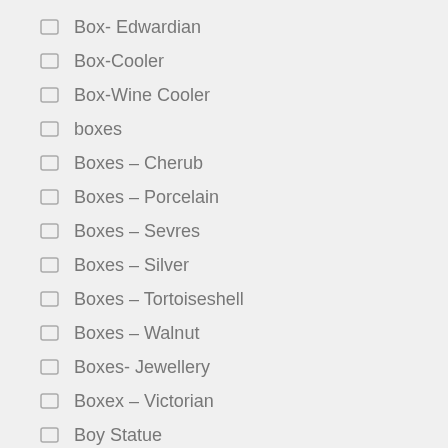Box- Edwardian
Box-Cooler
Box-Wine Cooler
boxes
Boxes – Cherub
Boxes – Porcelain
Boxes – Sevres
Boxes – Silver
Boxes – Tortoiseshell
Boxes – Walnut
Boxes- Jewellery
Boxex – Victorian
Boy Statue